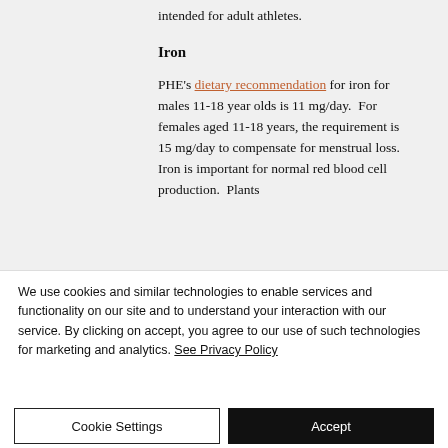intended for adult athletes.
Iron
PHE's dietary recommendation for iron for males 11-18 year olds is 11 mg/day.  For females aged 11-18 years, the requirement is 15 mg/day to compensate for menstrual loss. Iron is important for normal red blood cell production.  Plants
We use cookies and similar technologies to enable services and functionality on our site and to understand your interaction with our service. By clicking on accept, you agree to our use of such technologies for marketing and analytics. See Privacy Policy
Cookie Settings
Accept